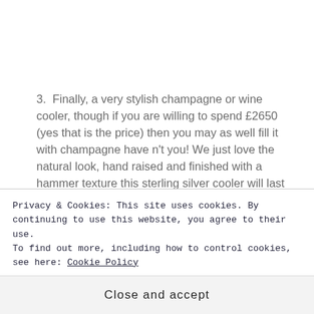3.  Finally, a very stylish champagne or wine cooler, though if you are willing to spend £2650 (yes that is the price) then you may as well fill it with champagne have n't you! We just love the natural look, hand raised and finished with a hammer texture this sterling silver cooler will last forever.  By far the piece we love the most….we just wish we could afford it!
[Figure (photo): Partial image of a dark object, likely the top of a silver cooler, partially visible at the bottom of the page before being obscured by a cookie consent banner.]
Privacy & Cookies: This site uses cookies. By continuing to use this website, you agree to their use.
To find out more, including how to control cookies, see here: Cookie Policy
Close and accept